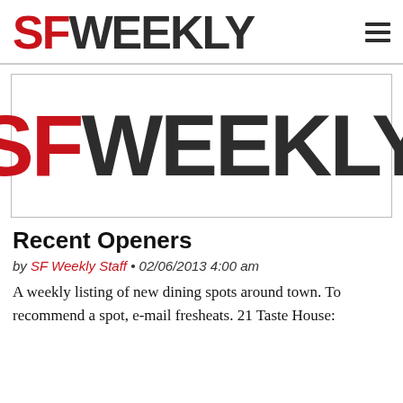SFWEEKLY
[Figure (logo): SF Weekly logo in a bordered advertisement box. 'SF' in bold red, 'WEEKLY' in bold dark charcoal, large display font.]
Recent Openers
by SF Weekly Staff • 02/06/2013 4:00 am
A weekly listing of new dining spots around town. To recommend a spot, e-mail fresheats. 21 Taste House: